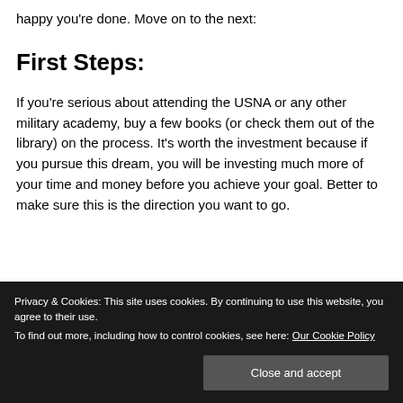happy you're done. Move on to the next:
First Steps:
If you're serious about attending the USNA or any other military academy, buy a few books (or check them out of the library) on the process. It's worth the investment because if you pursue this dream, you will be investing much more of your time and money before you achieve your goal. Better to make sure this is the direction you want to go.
Privacy & Cookies: This site uses cookies. By continuing to use this website, you agree to their use.
To find out more, including how to control cookies, see here: Our Cookie Policy